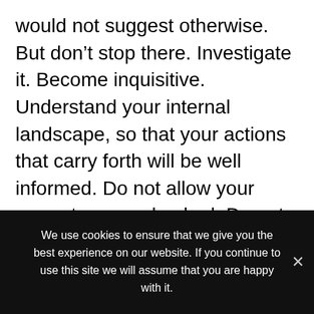would not suggest otherwise. But don't stop there. Investigate it. Become inquisitive. Understand your internal landscape, so that your actions that carry forth will be well informed. Do not allow your anger to go unchecked. Do not allow your seeds of love, ease, equanimity, inclusiveness, and interconnection to go un-watered. The well-being of our family, community, country, society, and the world depends on our ability to embody and practice the tools that mindfulness affords us, especially in the midst of change, challenge,
We use cookies to ensure that we give you the best experience on our website. If you continue to use this site we will assume that you are happy with it.